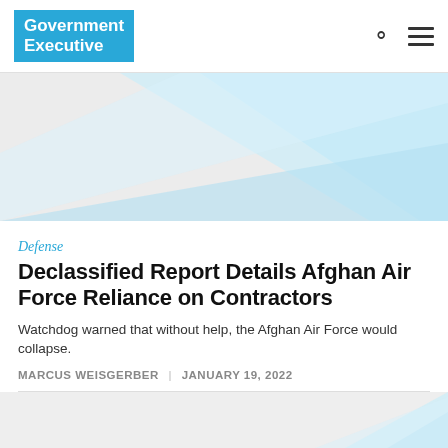Government Executive
[Figure (illustration): Hero banner with diagonal light blue geometric shapes on light gray background]
Defense
Declassified Report Details Afghan Air Force Reliance on Contractors
Watchdog warned that without help, the Afghan Air Force would collapse.
MARCUS WEISGERBER | JANUARY 19, 2022
[Figure (illustration): Bottom image area with diagonal light blue geometric shapes on light gray background]